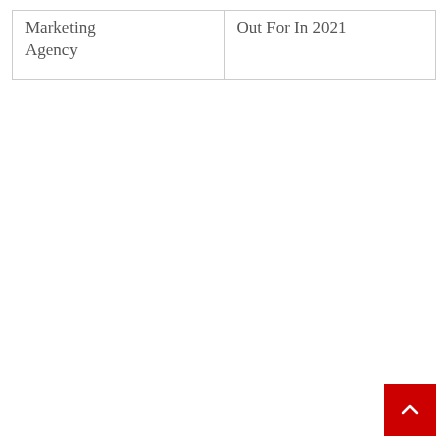Marketing Agency
Out For In 2021
[Figure (other): Back to top button - red square with white upward chevron arrow]